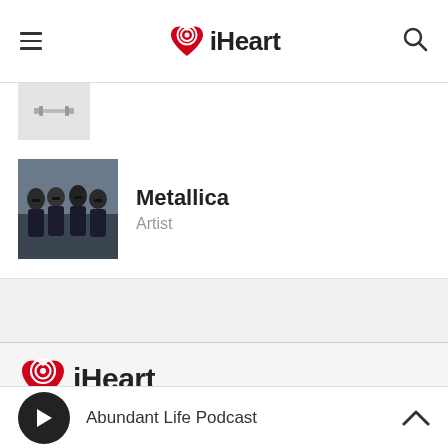iHeart navigation bar with hamburger menu, iHeart logo center, search icon
[Figure (screenshot): Partially visible thumbnail image with dumbbell/barbell icon on light gray background]
[Figure (photo): Metallica band photo - four band members posing outdoors]
Metallica
Artist
[Figure (logo): iHeart logo in footer - red heart with radio waves icon and iHeart text]
Music, radio and podcasts, all free. Listen online or download the iHeart App.
Abundant Life Podcast - player bar with play button and chevron up